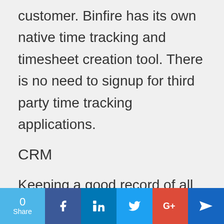customer. Binfire has its own native time tracking and timesheet creation tool. There is no need to signup for third party time tracking applications.
CRM
Keeping a good record of all your clients and following their progress in the sales cycle needs a good CRM
0 Share | Facebook | LinkedIn | Twitter | Google+ | Share